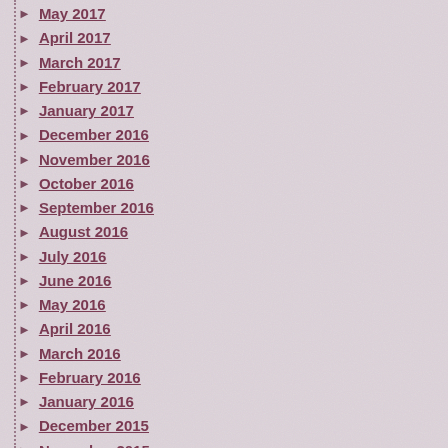May 2017
April 2017
March 2017
February 2017
January 2017
December 2016
November 2016
October 2016
September 2016
August 2016
July 2016
June 2016
May 2016
April 2016
March 2016
February 2016
January 2016
December 2015
November 2015
October 2015
September 2015
August 2015